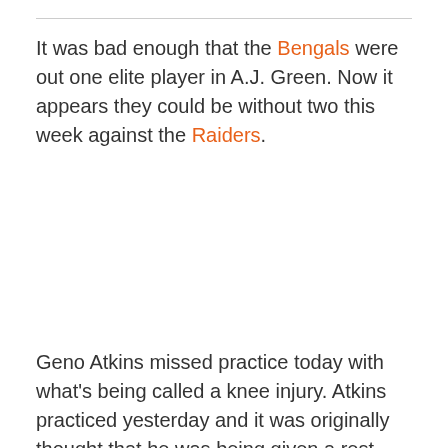It was bad enough that the Bengals were out one elite player in A.J. Green. Now it appears they could be without two this week against the Raiders.
Geno Atkins missed practice today with what's being called a knee injury. Atkins practiced yesterday and it was originally thought that he was being given a rest